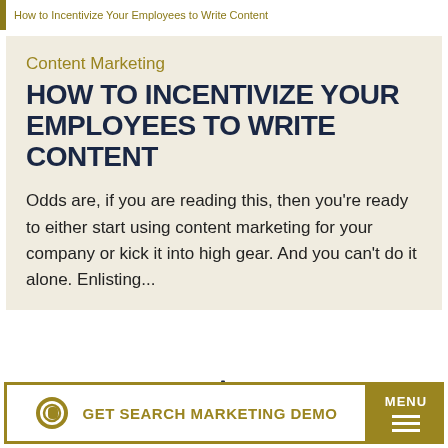How to Incentivize Your Employees to Write Content
Content Marketing
HOW TO INCENTIVIZE YOUR EMPLOYEES TO WRITE CONTENT
Odds are, if you are reading this, then you're ready to either start using content marketing for your company or kick it into high gear. And you can't do it alone. Enlisting...
Estimated Read Time: 6 minutes
GET SEARCH MARKETING DEMO
MENU